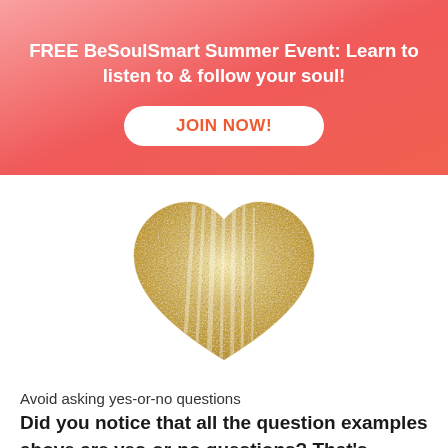FREE BeSoulSmart Summer Event: Learn to listen to & follow your soul!
JOIN NOW!
[Figure (illustration): A gold/metallic painted heart illustration with brush stroke texture on a white background]
Avoid asking yes-or-no questions
Did you notice that all the question examples above are yes-or-no questions? That's exactly